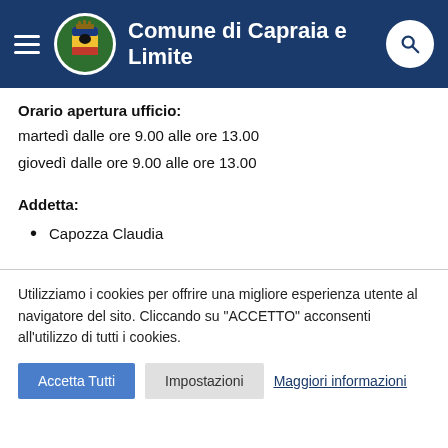Comune di Capraia e Limite
Orario apertura ufficio:
martedì dalle ore 9.00 alle ore 13.00
giovedì dalle ore 9.00 alle ore 13.00
Addetta:
Capozza Claudia
Utilizziamo i cookies per offrire una migliore esperienza utente al navigatore del sito. Cliccando su "ACCETTO" acconsenti all'utilizzo di tutti i cookies.